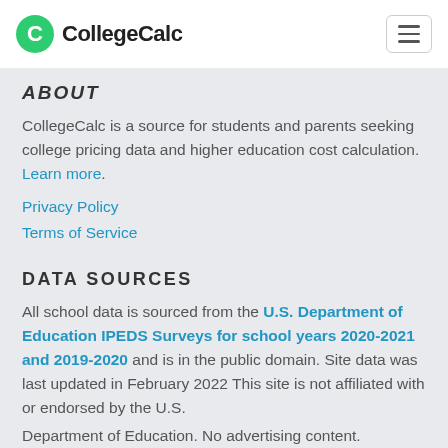CollegeCalc
ABOUT
CollegeCalc is a source for students and parents seeking college pricing data and higher education cost calculation. Learn more.
Privacy Policy
Terms of Service
DATA SOURCES
All school data is sourced from the U.S. Department of Education IPEDS Surveys for school years 2020-2021 and 2019-2020 and is in the public domain. Site data was last updated in February 2022 This site is not affiliated with or endorsed by the U.S. Department of Education. No advertising content.